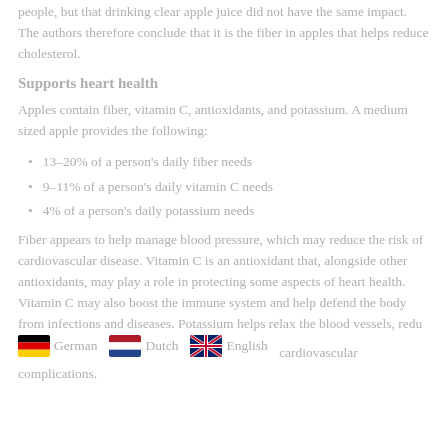people, but that drinking clear apple juice did not have the same impact. The authors therefore conclude that it is the fiber in apples that helps reduce cholesterol.
Supports heart health
Apples contain fiber, vitamin C, antioxidants, and potassium. A medium sized apple provides the following:
13–20% of a person's daily fiber needs
9–11% of a person's daily vitamin C needs
4% of a person's daily potassium needs
Fiber appears to help manage blood pressure, which may reduce the risk of cardiovascular disease. Vitamin C is an antioxidant that, alongside other antioxidants, may play a role in protecting some aspects of heart health. Vitamin C may also boost the immune system and help defend the body from infections and diseases. Potassium helps relax the blood vessels, redu... German Dutch English cardiovascular complications.